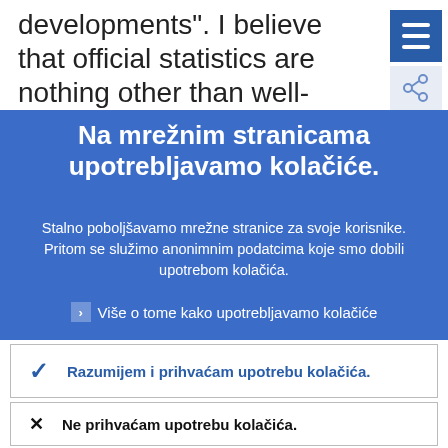developments". I believe that official statistics are nothing other than well-defined information being provided by a
Na mrežnim stranicama upotrebljavamo kolačiće.
Stalno poboljšavamo mrežne stranice za svoje korisnike. Pritom se služimo anonimnim podatcima koje smo dobili upotrebom kolačića.
Više o tome kako upotrebljavamo kolačiće
Razumijem i prihvaćam upotrebu kolačića.
Ne prihvaćam upotrebu kolačića.